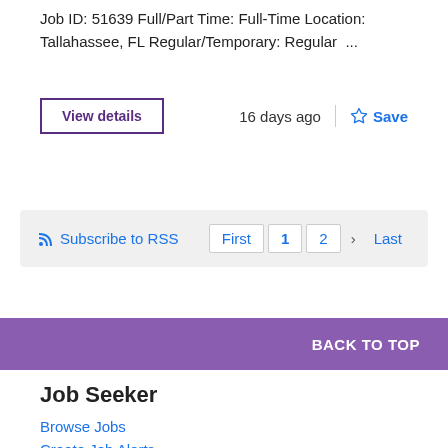Job ID: 51639 Full/Part Time: Full-Time Location: Tallahassee, FL Regular/Temporary: Regular  ...
View details   16 days ago   Save
Subscribe to RSS   First   1   2   >   Last
BACK TO TOP
Job Seeker
Browse Jobs
Create Job Alerts